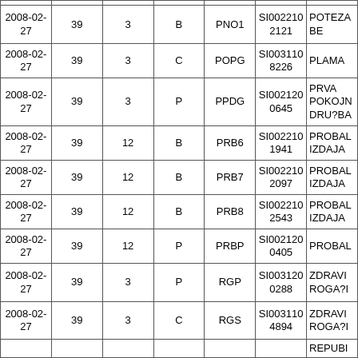| Date | Col2 | Col3 | Col4 | Col5 | Col6 | Col7 |
| --- | --- | --- | --- | --- | --- | --- |
| 2008-02-27 | 39 | 3 | B | PNO1 | SI0022102121 | POTEZA BE |
| 2008-02-27 | 39 | 3 | C | POPG | SI0031108226 | PLAMA |
| 2008-02-27 | 39 | 3 | P | PPDG | SI0021200645 | PRVA POKOJN DRU?BA |
| 2008-02-27 | 39 | 12 | B | PRB6 | SI0022101941 | PROBAL IZDAJA |
| 2008-02-27 | 39 | 12 | B | PRB7 | SI0022102097 | PROBAL IZDAJA |
| 2008-02-27 | 39 | 12 | B | PRB8 | SI0022102543 | PROBAL IZDAJA |
| 2008-02-27 | 39 | 12 | P | PRBP | SI0021200405 | PROBAL |
| 2008-02-27 | 39 | 3 | P | RGP | SI0031200288 | ZDRAVI ROGA?I |
| 2008-02-27 | 39 | 3 | C | RGS | SI0031104894 | ZDRAVI ROGA?I |
|  |  |  |  |  |  | REPUBI |